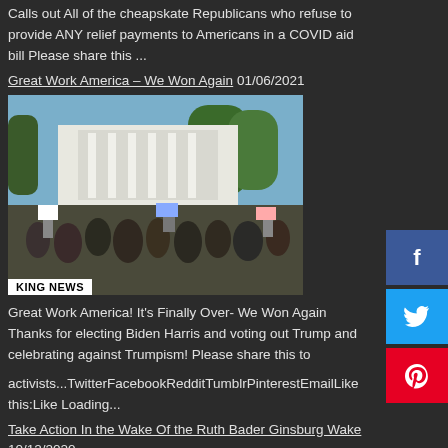Calls out All of the cheapskate Republicans who refuse to provide ANY relief payments to Americans in a COVID aid bill Please share this ...
Great Work America – We Won Again 01/06/2021
[Figure (photo): News photo showing a large crowd of protesters outside a white building (White House) with signs, overlaid with a BREAKING NEWS banner at the bottom.]
Great Work America! It's Finally Over- We Won Again Thanks for electing Biden Harris and voting out Trump and celebrating against Trumpism! Please share this to
activists...TwitterFacebookRedditTumblrPinterestEmailLike this:Like Loading...
Take Action In the Wake Of the Ruth Bader Ginsburg Wake 10/12/2020
[Figure (photo): Blue poster graphic with orange bold text reading 'Don't Let The GOP Exploit' and a photo of Barack Obama, with 'R.I.P.' visible at the bottom.]